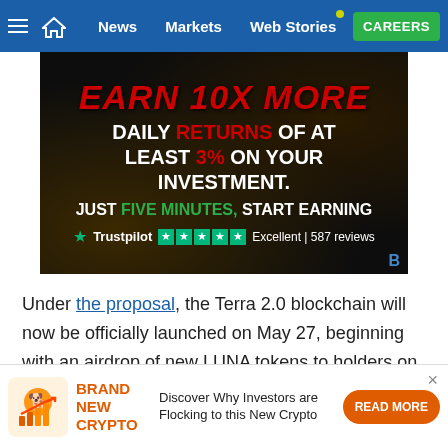≡  🏠  News  Markets  Web Stories  CAREERS
[Figure (infographic): Advertisement banner with dark background and gold coins. Text reads: EARN 10X MORE — DAILY RETURNS OF AT LEAST 3% ON YOUR INVESTMENT. — JUST FIVE MINUTES, START EARNING — Trustpilot ★★★★★ Excellent | 587 reviews]
Under the proposal, the Terra 2.0 blockchain will now be officially launched on May 27, beginning with an airdrop of new LUNA tokens to holders on the old chain
[Figure (infographic): Bottom advertisement: BRAND NEW CRYPTO — Discover Why Investors are Flocking to this New Crypto — READ MORE button]